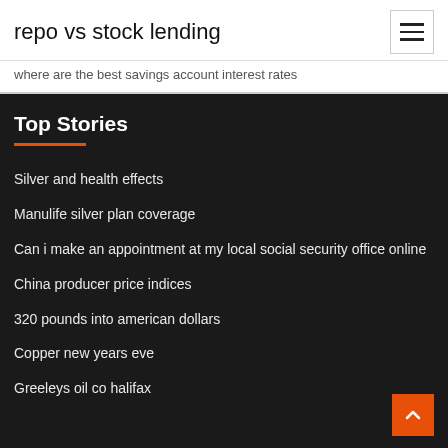repo vs stock lending
where are the best savings account interest rates
Top Stories
Silver and health effects
Manulife silver plan coverage
Can i make an appointment at my local social security office online
China producer price indices
320 pounds into american dollars
Copper new years eve
Greeleys oil co halifax